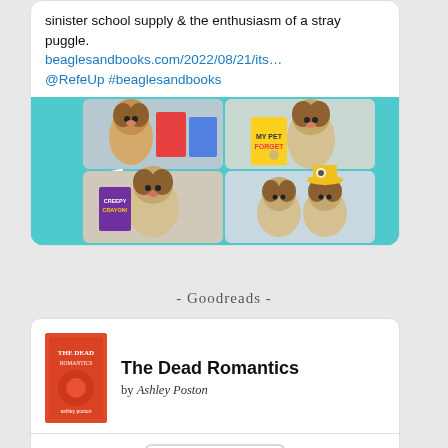sinister school supply & the enthusiasm of a stray puggle.
beaglesandbooks.com/2022/08/21/its…
@RefeUp #beaglesandbooks
[Figure (photo): A collage of beagle/puggle dogs posed with books on a teal/cyan background, with text AIMWAYR on left and BEAGLES & BOOKS on right]
- Goodreads -
[Figure (illustration): Book cover thumbnail for 'The Dead Romantics' by Ashley Poston — orange/red cover]
The Dead Romantics
by Ashley Poston
[Figure (logo): Goodreads logo in gray text]